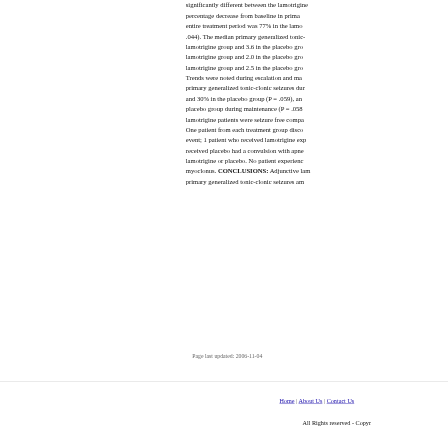significantly different between the lamotrigine percentage decrease from baseline in primary entire treatment period was 77% in the lamo .044). The median primary generalized tonic- lamotrigine group and 3.6 in the placebo gro lamotrigine group and 2.0 in the placebo gro lamotrigine group and 2.5 in the placebo gro Trends were noted during escalation and ma primary generalized tonic-clonic seizures dur and 30% in the placebo group (P = .059), an placebo group during maintenance (P = .058 lamotrigine patients were seizure free compa One patient from each treatment group disco event; 1 patient who received lamotrigine exp received placebo had a convulsion with apne lamotrigine or placebo. No patient experienc myoclonus. CONCLUSIONS: Adjunctive lam primary generalized tonic-clonic seizures am
Page last updated: 2006-11-04
Home | About Us | Contact Us
All Rights reserved - Copyr